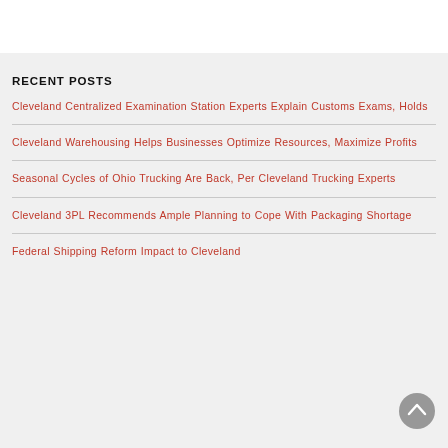RECENT POSTS
Cleveland Centralized Examination Station Experts Explain Customs Exams, Holds
Cleveland Warehousing Helps Businesses Optimize Resources, Maximize Profits
Seasonal Cycles of Ohio Trucking Are Back, Per Cleveland Trucking Experts
Cleveland 3PL Recommends Ample Planning to Cope With Packaging Shortage
Federal Shipping Reform Impact to Cleveland